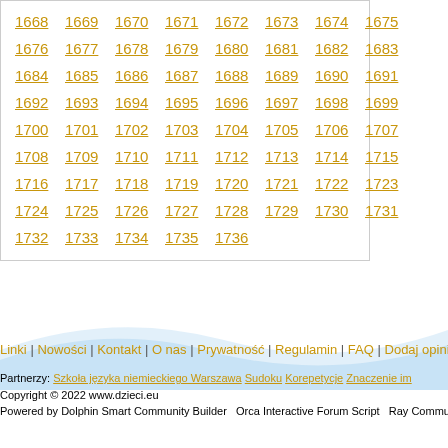1668 1669 1670 1671 1672 1673 1674 1675
1676 1677 1678 1679 1680 1681 1682 1683
1684 1685 1686 1687 1688 1689 1690 1691
1692 1693 1694 1695 1696 1697 1698 1699
1700 1701 1702 1703 1704 1705 1706 1707
1708 1709 1710 1711 1712 1713 1714 1715
1716 1717 1718 1719 1720 1721 1722 1723
1724 1725 1726 1727 1728 1729 1730 1731
1732 1733 1734 1735 1736
Linki | Nowości | Kontakt | O nas | Prywatność | Regulamin | FAQ | Dodaj opinię | Zaproś z
Partnerzy: Szkoła języka niemieckiego Warszawa Sudoku Korepetycje Znaczenie im
Copyright © 2022 www.dzieci.eu
Powered by Dolphin Smart Community Builder   Orca Interactive Forum Script   Ray Community Widget Suite